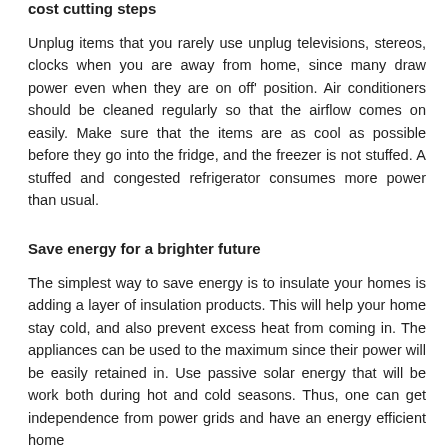cost cutting steps
Unplug items that you rarely use unplug televisions, stereos, clocks when you are away from home, since many draw power even when they are on off' position. Air conditioners should be cleaned regularly so that the airflow comes on easily. Make sure that the items are as cool as possible before they go into the fridge, and the freezer is not stuffed. A stuffed and congested refrigerator consumes more power than usual.
Save energy for a brighter future
The simplest way to save energy is to insulate your homes is adding a layer of insulation products. This will help your home stay cold, and also prevent excess heat from coming in. The appliances can be used to the maximum since their power will be easily retained in. Use passive solar energy that will be work both during hot and cold seasons. Thus, one can get independence from power grids and have an energy efficient home